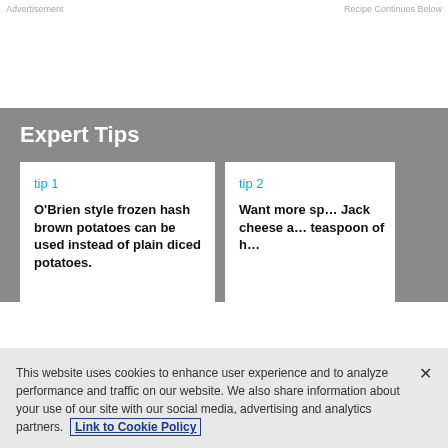Advertisement    Recipe Continues Below
Expert Tips
tip 1
O'Brien style frozen hash brown potatoes can be used instead of plain diced potatoes.
tip 2
Want more sp... Jack cheese a... teaspoon of h...
This website uses cookies to enhance user experience and to analyze performance and traffic on our website. We also share information about your use of our site with our social media, advertising and analytics partners. Link to Cookie Policy